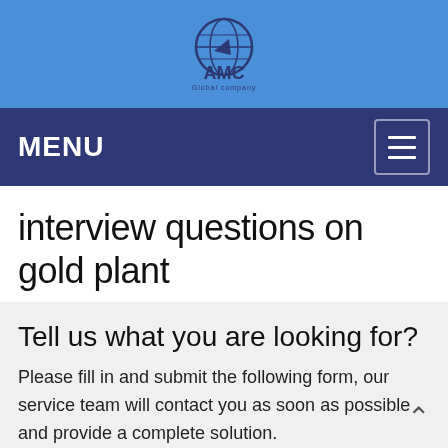[Figure (logo): AMC Global company logo with globe icon in blue circle and text 'AMC' with 'Global company' below]
MENU
interview questions on gold plant
Tell us what you are looking for?
Please fill in and submit the following form, our service team will contact you as soon as possible and provide a complete solution.